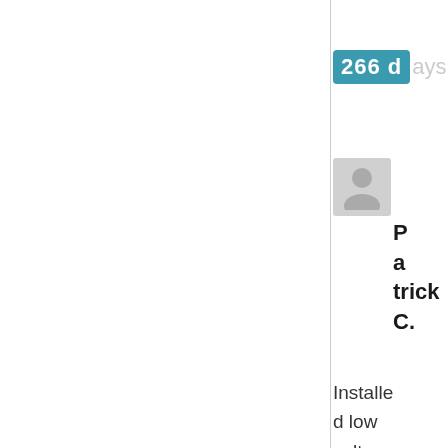266 days
[Figure (photo): User avatar placeholder image showing a silhouette of a person on a grey background]
Patrick C.
Installed low voltage LED lighting accenting the front